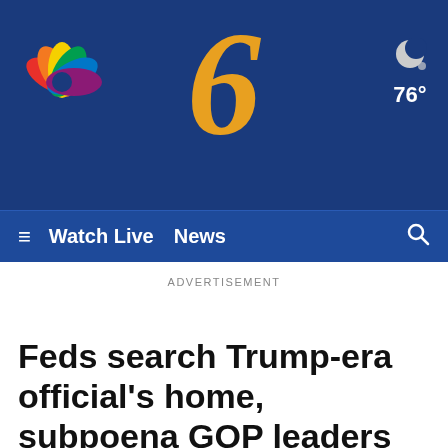[Figure (logo): NBC 6 news website header with NBC peacock logo on left, large italic gold '6' in center, moon weather icon and 76° temperature on right, all on dark navy blue background]
≡  Watch Live  News  🔍
ADVERTISEMENT
Feds search Trump-era official's home, subpoena GOP leaders
[Figure (screenshot): Black video thumbnail area at the bottom of the page]